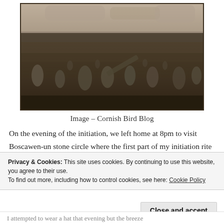[Figure (photo): Sepia-toned photograph of Boscawen-un stone circle in Cornwall, showing standing stones scattered across a grassy field with shrubs and trees in the background under an overcast sky.]
Image – Cornish Bird Blog
On the evening of the initiation, we left home at 8pm to visit Boscawen-un stone circle where the first part of my initiation rite would take place, just as it had ten years ago. The difference on this occasion was the invisibility of the
Privacy & Cookies: This site uses cookies. By continuing to use this website, you agree to their use.
To find out more, including how to control cookies, see here: Cookie Policy
Close and accept
I attempted to wear a hat that evening but the breeze